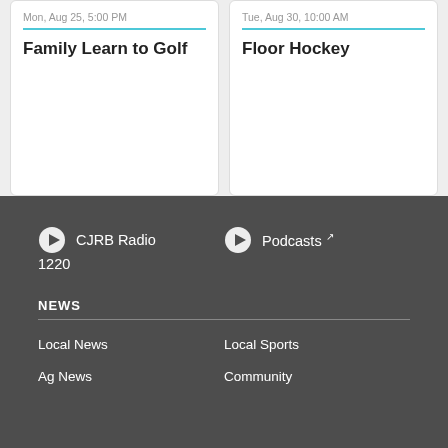Mon, Aug 25, 5:00 PM
Family Learn to Golf
Tue, Aug 30, 10:00 AM
Floor Hockey
CJRB Radio 1220
Podcasts
NEWS
Local News
Local Sports
Ag News
Community